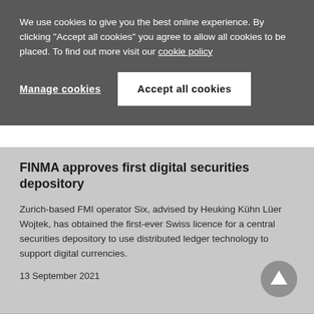We use cookies to give you the best online experience. By clicking "Accept all cookies" you agree to allow all cookies to be placed. To find out more visit our cookie policy
Manage cookies
Accept all cookies
FINMA approves first digital securities depository
Zurich-based FMI operator Six, advised by Heuking Kühn Lüer Wojtek, has obtained the first-ever Swiss licence for a central securities depository to use distributed ledger technology to support digital currencies.
13 September 2021